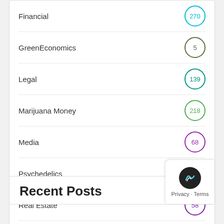Financial 270
GreenEconomics 5
Legal 139
Marijuana Money 218
Media 68
Psychedelics 296
Real Estate 58
Technology 88
Videos 332
Recent Posts